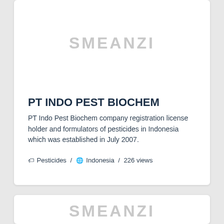[Figure (logo): SMEANZI watermark text in light gray, centered in top card]
PT INDO PEST BIOCHEM
PT Indo Pest Biochem company registration license holder and formulators of pesticides in Indonesia which was established in July 2007.
🏷 Pesticides / 🌐 Indonesia / 226 views
[Figure (logo): SMEANZI watermark text in light gray, centered in bottom card]